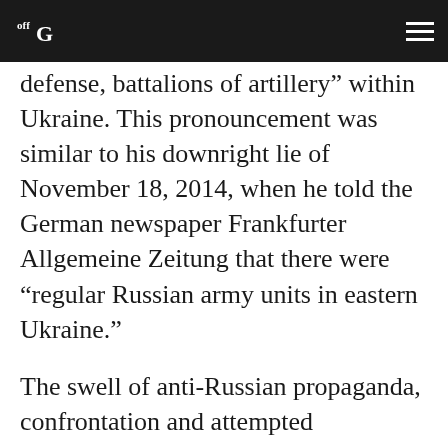off Guardian
defense, battalions of artillery” within Ukraine. This pronouncement was similar to his downright lie of November 18, 2014, when he told the German newspaper Frankfurter Allgemeine Zeitung that there were “regular Russian army units in eastern Ukraine.”
The swell of anti-Russian propaganda, confrontation and attempted intimidation by NATO has increased, and if it continues to do so it is likely that Moscow will take action, thereby upping the stakes and the danger even more. It